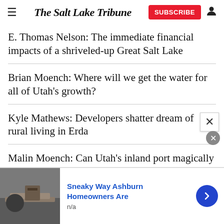The Salt Lake Tribune
E. Thomas Nelson: The immediate financial impacts of a shriveled-up Great Salt Lake
Brian Moench: Where will we get the water for all of Utah's growth?
Kyle Mathews: Developers shatter dream of rural living in Erda
Malin Moench: Can Utah's inland port magically clean our air?
[Figure (other): Advertisement banner: Sneaky Way Ashburn Homeowners Are, n/a, with roofing image and navigation arrow]